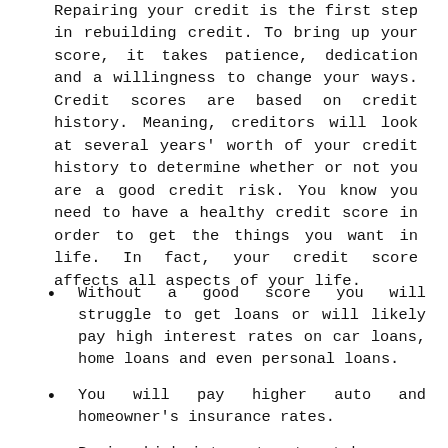Repairing your credit is the first step in rebuilding credit. To bring up your score, it takes patience, dedication and a willingness to change your ways. Credit scores are based on credit history. Meaning, creditors will look at several years' worth of your credit history to determine whether or not you are a good credit risk. You know you need to have a healthy credit score in order to get the things you want in life. In fact, your credit score affects all aspects of your life.
Without a good score you will struggle to get loans or will likely pay high interest rates on car loans, home loans and even personal loans.
You will pay higher auto and homeowner's insurance rates.
Paying high interest rates take money directly out of your pocket and affects your bottom...